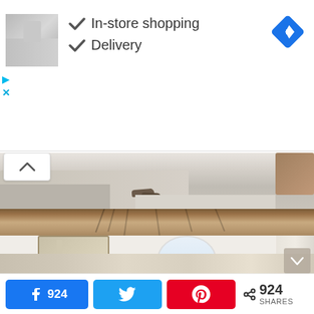[Figure (screenshot): Advertisement banner with thumbnail image of home decor, checkmarks for 'In-store shopping' and 'Delivery', and a blue navigation icon in top right. Includes play and close controls on the left.]
[Figure (photo): Partial view of a bedroom with neutral beige/grey tones, bed with linen, shoes on floor, and a wicker basket in corner.]
[Figure (photo): Interior living room with high vaulted ceiling featuring exposed wooden beams in herringbone pattern, white walls, ornate mirror, framed botanical prints, arched window with natural light, table lamps, and neutral-toned furniture with wicker accents.]
924
924
SHARES